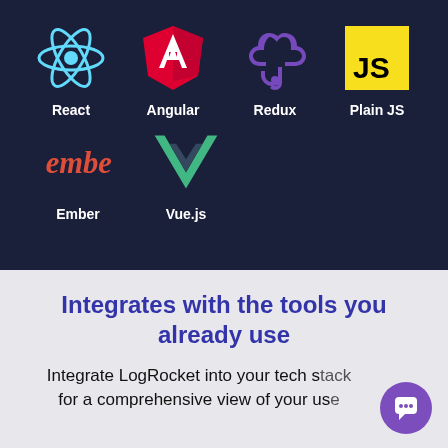[Figure (illustration): Dark navy background section showing framework logos in a grid: React (teal atom icon), Angular (red shield with A), Redux (purple chain links), Plain JS (yellow square with JS text), Ember (red script text logo), Vue.js (green V chevron logo). Each has a white bold label beneath.]
Integrates with the tools you already use
Integrate LogRocket into your tech stack for a comprehensive view of your use...